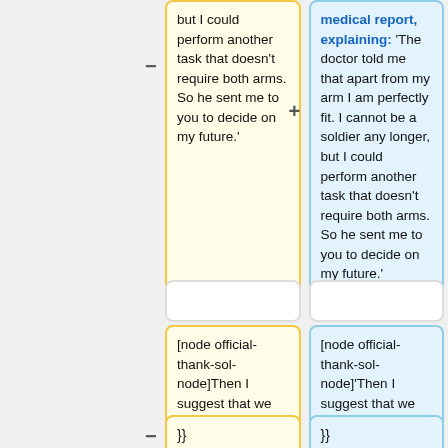but I could perform another task that doesn't require both arms. So he sent me to you to decide on my future.'
medical report, explaining: 'The doctor told me that apart from my arm I am perfectly fit. I cannot be a soldier any longer, but I could perform another task that doesn't require both arms. So he sent me to you to decide on my future.'
[node official-thank-sol-node]Then I suggest that we employ you as a watcher. That way you won't need your arms and still can remain a guardian!'"
[node official-thank-sol-node]'Then I suggest that we employ you as a watcher. That way you won't need your arms and still can remain a guardian!'"
}}
}}